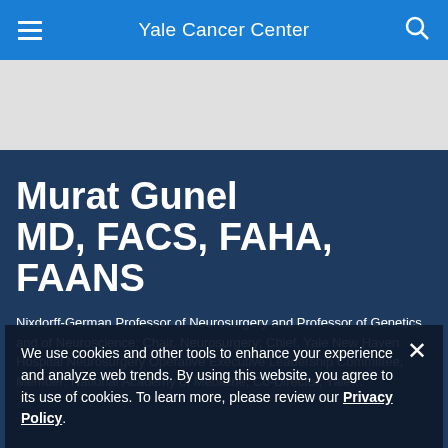Yale Cancer Center
Murat Gunel MD, FACS, FAHA, FAANS
Nixdorff-German Professor of Neurosurgery and Professor of Genetics and of Neuroscience; Chair, Neurosurgery; Chief, Yale New Haven Hospital Neurosurgery; Operative Executive Leadership Committee, Member; National Academy of Medicine, Co-Director, Yale...
We use cookies and other tools to enhance your experience and analyze web trends. By using this website, you agree to its use of cookies. To learn more, please review our Privacy Policy.